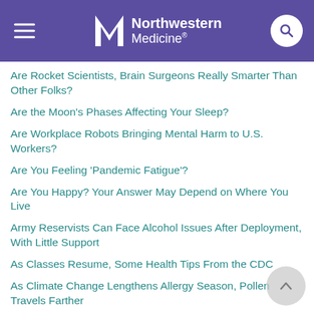[Figure (logo): Northwestern Medicine logo with purple header bar, hamburger menu on left, search icon on right]
Are Rocket Scientists, Brain Surgeons Really Smarter Than Other Folks?
Are the Moon's Phases Affecting Your Sleep?
Are Workplace Robots Bringing Mental Harm to U.S. Workers?
Are You Feeling 'Pandemic Fatigue'?
Are You Happy? Your Answer May Depend on Where You Live
Army Reservists Can Face Alcohol Issues After Deployment, With Little Support
As Classes Resume, Some Health Tips From the CDC
As Climate Change Lengthens Allergy Season, Pollen Travels Farther